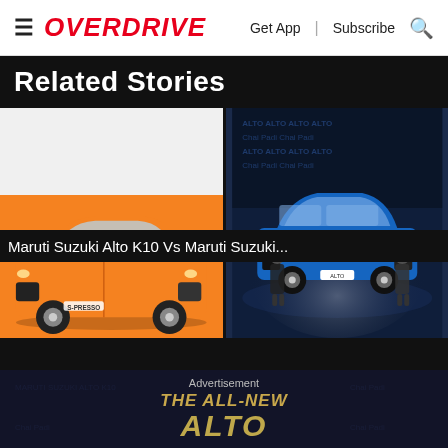≡ OVERDRIVE  Get App | Subscribe 🔍
Related Stories
[Figure (photo): Two images side by side: left shows an orange Maruti Suzuki S-Presso hatchback on a white background; right shows a blue Maruti Suzuki Alto K10 at a launch event with two men standing beside it on a dark stage.]
Maruti Suzuki Alto K10 Vs Maruti Suzuki...
[Figure (photo): Partially visible second story card showing a Maruti Suzuki Alto launch event with 'THE ALL-NEW ALTO' text overlay and an Advertisement label in the center.]